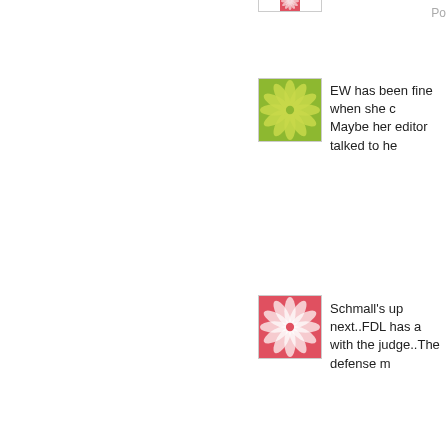[Figure (illustration): Red flower/starburst avatar icon at top]
Po
[Figure (illustration): Green flower/starburst avatar icon]
EW has been fine when she c Maybe her editor talked to he
[Figure (illustration): Red flower/starburst avatar icon]
Schmall's up next..FDL has a with the judge..The defense m
[Figure (illustration): Red flower/starburst avatar icon]
"Looks to me that the door o prosecution of direct and ope

I'd agree. Fitz trying to get Gr information. BS, they were al wouldn't they?

FDL says Greier looks dappe BS, I don't know how it come panel and I'd bet money he's wonder what is in it for Grenie